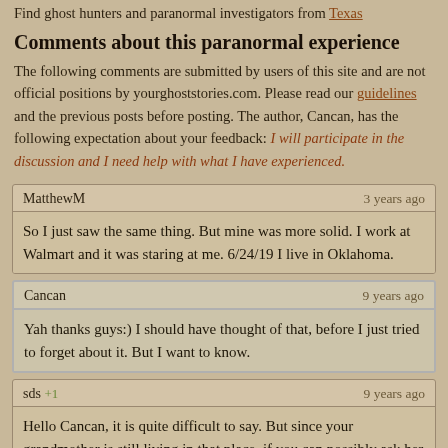Find ghost hunters and paranormal investigators from Texas
Comments about this paranormal experience
The following comments are submitted by users of this site and are not official positions by yourghoststories.com. Please read our guidelines and the previous posts before posting. The author, Cancan, has the following expectation about your feedback: I will participate in the discussion and I need help with what I have experienced.
MatthewM — 3 years ago
So I just saw the same thing. But mine was more solid. I work at Walmart and it was staring at me. 6/24/19 I live in Oklahoma.
Cancan — 9 years ago
Yah thanks guys:) I should have thought of that, before I just tried to forget about it. But I want to know.
sds +1 — 9 years ago
Hello Cancan, it is quite difficult to say. But since your grandmother is still living in that place, if you can possibly ask her if anything had happened well about 15 years ago in that